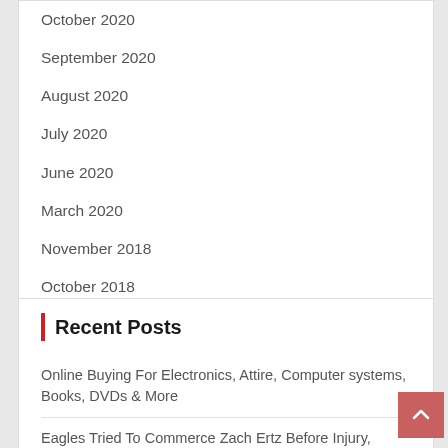October 2020
September 2020
August 2020
July 2020
June 2020
March 2020
November 2018
October 2018
January 2017
Recent Posts
Online Buying For Electronics, Attire, Computer systems, Books, DVDs & More
Eagles Tried To Commerce Zach Ertz Before Injury, Nonetheless Shopping Alshon Jeffery, Per Report